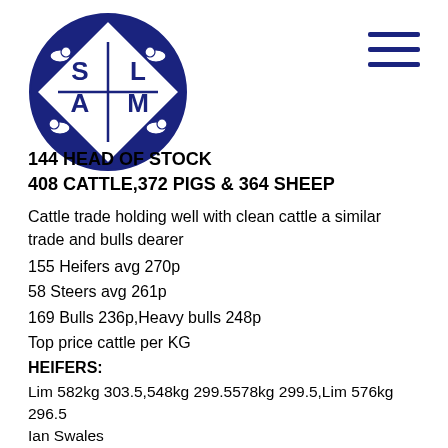[Figure (logo): SLAM livestock auction market circular logo with blue background, animals in corners, and S L A M letters in center with a cross/diamond shape]
144 HEAD OF STOCK
408 CATTLE,372 PIGS & 364 SHEEP
Cattle trade holding well with clean cattle a similar trade and bulls dearer
155 Heifers avg 270p
58 Steers avg 261p
169 Bulls 236p,Heavy bulls 248p
Top price cattle per KG
HEIFERS:
Lim 582kg 303.5,548kg 299.5578kg 299.5,Lim 576kg 296.5 Ian Swales
Lim 560kg 303.5,568kg 299.5556kg 299.5,580kg 296.5 J & R Waind
Lim 568kg 297.5,612kg 293.5 AB Cattle
Lim 542kg 297.5 JR & AD Wildgoose